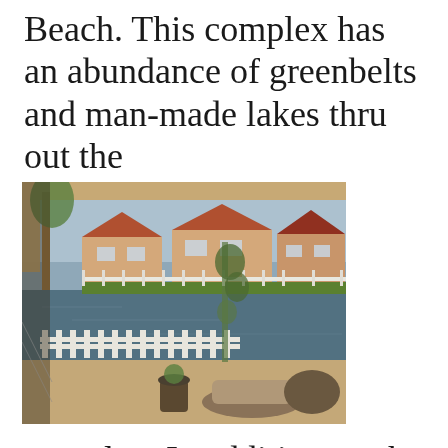Beach. This complex has an abundance of greenbelts and man-made lakes thru out the
[Figure (photo): View from a covered patio/pergola overlooking a man-made lake with a white picket fence, potted plants, patio furniture, and residential townhomes visible across the water on a sunny day.]
complex. In addition, to the green belts, the “Seaside Village”s a wonderful gated community which was built